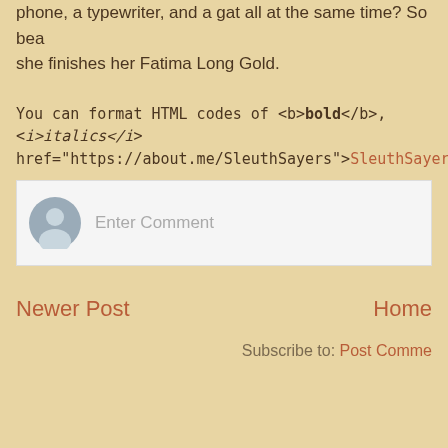phone, a typewriter, and a gat all at the same time? So bea she finishes her Fatima Long Gold.
You can format HTML codes of <b>bold</b>, <i>italics</i> href="https://about.me/SleuthSayers">SleuthSayers</a>
[Figure (other): Comment input area with user avatar icon and Enter Comment placeholder text]
Newer Post
Home
Subscribe to: Post Comme